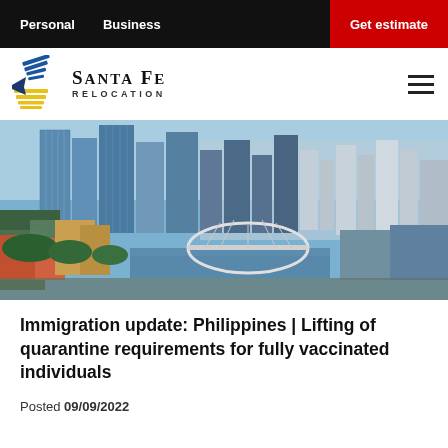Personal   Business   Get estimate
[Figure (logo): Santa Fe Relocation logo with stylized bird/arrow icon in blue and yellow, and company name in serif font]
[Figure (photo): Aerial cityscape of Manila, Philippines, showing modern skyscrapers, buildings, a bridge over a river, and sprawling urban neighborhoods under a blue sky]
Immigration update: Philippines | Lifting of quarantine requirements for fully vaccinated individuals
Posted 09/09/2022